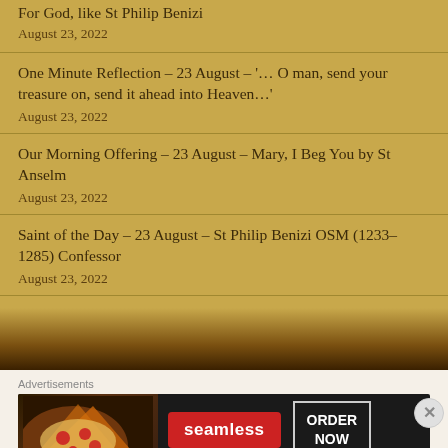For God, like St Philip Benizi
August 23, 2022
One Minute Reflection – 23 August – '… O man, send your treasure on, send it ahead into Heaven…'
August 23, 2022
Our Morning Offering – 23 August – Mary, I Beg You by St Anselm
August 23, 2022
Saint of the Day – 23 August – St Philip Benizi OSM (1233–1285) Confessor
August 23, 2022
Advertisements
[Figure (screenshot): Seamless food delivery advertisement banner with pizza image, seamless logo in red, and ORDER NOW button]